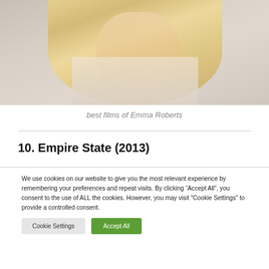[Figure (photo): Partial photo of a blonde woman (Emma Roberts) from shoulders up, wearing a light-colored dress with thin straps and a necklace, against a light background. Only the lower portion of her face/hair and upper body are visible.]
best films of Emma Roberts
10. Empire State (2013)
We use cookies on our website to give you the most relevant experience by remembering your preferences and repeat visits. By clicking “Accept All”, you consent to the use of ALL the cookies. However, you may visit "Cookie Settings" to provide a controlled consent.